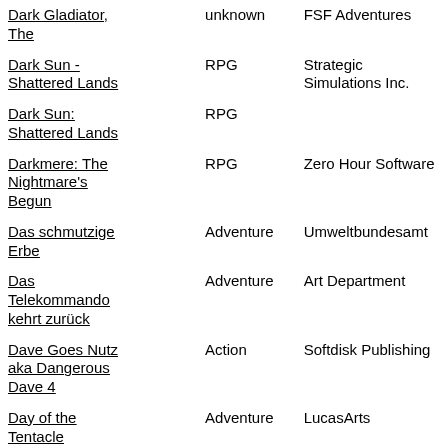| Dark Gladiator, The | unknown | FSF Adventures |
| Dark Sun - Shattered Lands | RPG | Strategic Simulations Inc. |
| Dark Sun: Shattered Lands | RPG |  |
| Darkmere: The Nightmare's Begun | RPG | Zero Hour Software |
| Das schmutzige Erbe | Adventure | Umweltbundesamt |
| Das Telekommando kehrt zurück | Adventure | Art Department |
| Dave Goes Nutz aka Dangerous Dave 4 | Action | Softdisk Publishing |
| Day of the Tentacle | Adventure | LucasArts |
| Day of the... | Adventure | LucasArts |